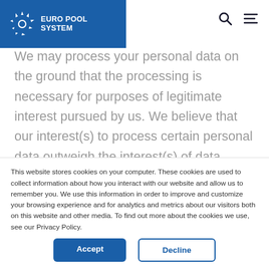EURO POOL SYSTEM
We may process your personal data on the ground that the processing is necessary for purposes of legitimate interest pursued by us. We believe that our interest(s) to process certain personal data outweigh the interest(s) of data subjects, also taken into account the nature of
This website stores cookies on your computer. These cookies are used to collect information about how you interact with our website and allow us to remember you. We use this information in order to improve and customize your browsing experience and for analytics and metrics about our visitors both on this website and other media. To find out more about the cookies we use, see our Privacy Policy.